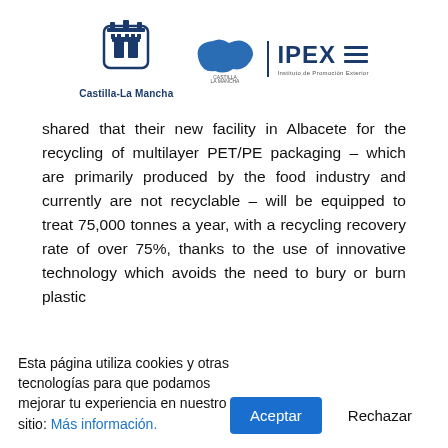[Figure (logo): Castilla-La Mancha regional government logo with shield icon and text 'Castilla-La Mancha', alongside IPEX logo with blue bird/hat shape and text 'IPEX' with hamburger menu icon]
shared that their new facility in Albacete for the recycling of multilayer PET/PE packaging – which are primarily produced by the food industry and currently are not recyclable – will be equipped to treat 75,000 tonnes a year, with a recycling recovery rate of over 75%, thanks to the use of innovative technology which avoids the need to bury or burn plastic
Esta página utiliza cookies y otras tecnologías para que podamos mejorar tu experiencia en nuestro sitio: Más información.